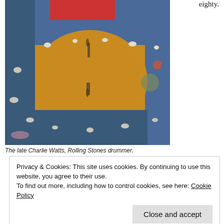eighty.
[Figure (photo): Close-up photograph of a textile or tapestry with blue, orange/yellow, red, and dark tones showing a worn or distressed woven fabric surface.]
The late Charlie Watts, Rolling Stones drummer.
Privacy & Cookies: This site uses cookies. By continuing to use this website, you agree to their use.
To find out more, including how to control cookies, see here: Cookie Policy
Close and accept